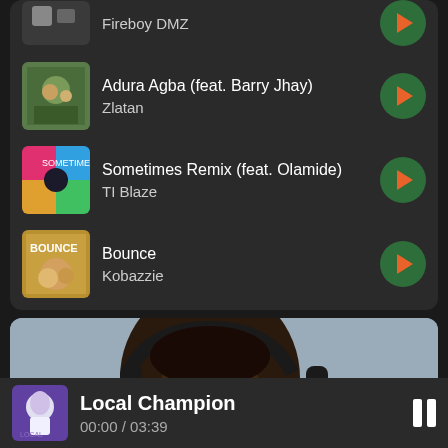Fireboy DML - (partial, top cropped)
Adura Agba (feat. Barry Jhay) - Zlatan
Sometimes Remix (feat. Olamide) - TI Blaze
Bounce - Kobazzie
[Figure (photo): Person wearing black over-ear headphones, eyes closed, photographed from the side/front, blurred background]
Local Champion
00:00 / 03:39